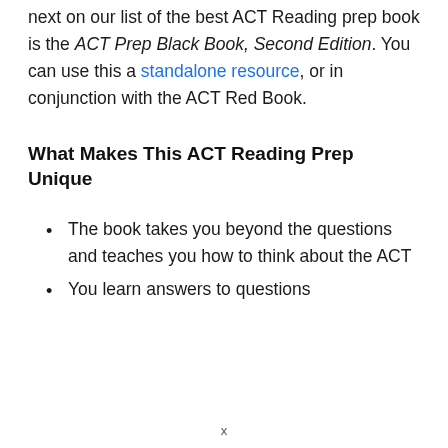next on our list of the best ACT Reading prep book is the ACT Prep Black Book, Second Edition. You can use this a standalone resource, or in conjunction with the ACT Red Book.
What Makes This ACT Reading Prep Unique
The book takes you beyond the questions and teaches you how to think about the ACT
You learn answers to questions